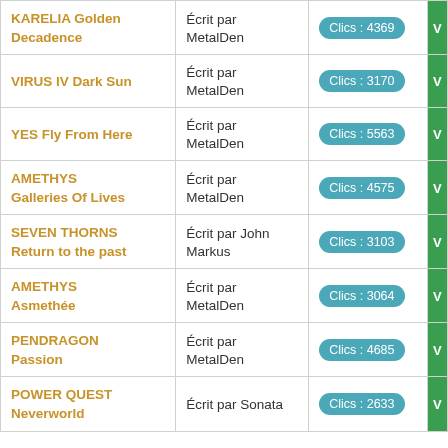| Album | Author | Clics |  |
| --- | --- | --- | --- |
| KARELIA Golden Decadence | Écrit par MetalDen | Clics : 4369 | V |
| VIRUS IV Dark Sun | Écrit par MetalDen | Clics : 3170 | V |
| YES Fly From Here | Écrit par MetalDen | Clics : 5563 | V |
| AMETHYS Galleries Of Lives | Écrit par MetalDen | Clics : 4575 | V |
| SEVEN THORNS Return to the past | Écrit par John Markus | Clics : 3103 | V |
| AMETHYS Asmethée | Écrit par MetalDen | Clics : 3064 | V |
| PENDRAGON Passion | Écrit par MetalDen | Clics : 4685 | V |
| POWER QUEST Neverworld | Écrit par Sonata | Clics : 2633 | V |